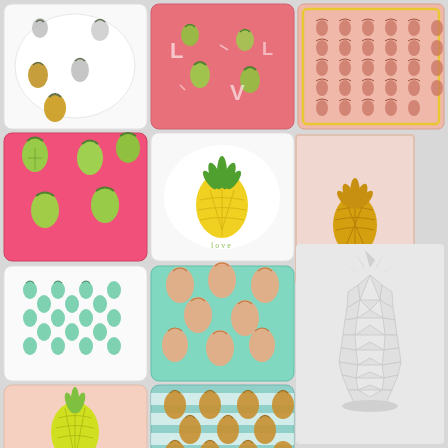[Figure (photo): Collection of pineapple-themed decorative pillows and home decor items arranged in a grid. Row 1: white pillow with black/gold pineapples, pink pillow with green pineapples and letters, pink rectangular pillow with small pineapple pattern. Row 2: hot pink pillow with green pineapples, white pillow with single yellow pineapple, blush pink art print with gold pineapple. Row 3: white pillow with small teal pineapples, teal/mint pillow with peach pineapples, white ceramic geometric pineapple figurine. Row 4: blush pink pillow with single lime green pineapple, teal striped pillow with gold pineapples.]